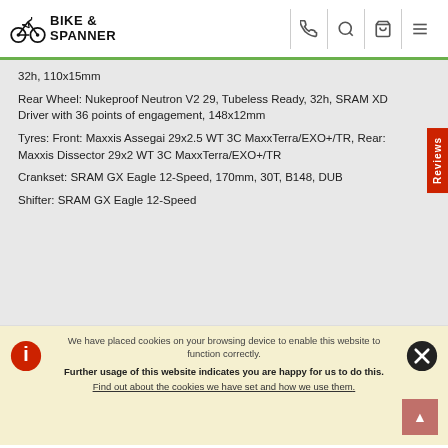BIKE & SPANNER
32h, 110x15mm
Rear Wheel: Nukeproof Neutron V2 29, Tubeless Ready, 32h, SRAM XD Driver with 36 points of engagement, 148x12mm
Tyres: Front: Maxxis Assegai 29x2.5 WT 3C MaxxTerra/EXO+/TR, Rear: Maxxis Dissector 29x2 WT 3C MaxxTerra/EXO+/TR
Crankset: SRAM GX Eagle 12-Speed, 170mm, 30T, B148, DUB
Shifter: SRAM GX Eagle 12-Speed
We have placed cookies on your browsing device to enable this website to function correctly. Further usage of this website indicates you are happy for us to do this. Find out about the cookies we have set and how we use them.